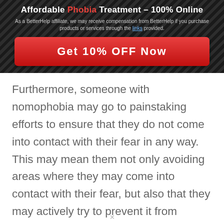Affordable Phobia Treatment – 100% Online
As a BetterHelp affiliate, we may receive compensation from BetterHelp if you purchase products or services through the links provided.
Get 10% OFF Now
Furthermore, someone with nomophobia may go to painstaking efforts to ensure that they do not come into contact with their fear in any way. This may mean them not only avoiding areas where they may come into contact with their fear, but also that they may actively try to prevent it from happening by taking a more